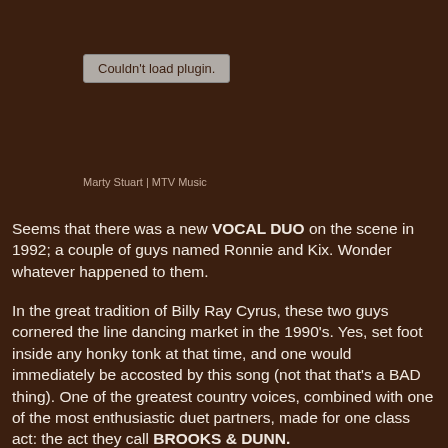[Figure (other): Couldn't load plugin. placeholder box]
Marty Stuart | MTV Music
Seems that there was a new VOCAL DUO on the scene in 1992; a couple of guys named Ronnie and Kix. Wonder whatever happened to them.
In the great tradition of Billy Ray Cyrus, these two guys cornered the line dancing market in the 1990's. Yes, set foot inside any honky tonk at that time, and one would immediately be accosted by this song (not that that's a BAD thing). One of the greatest country voices, combined with one of the most enthusiastic duet partners, made for one class act: the act they call BROOKS & DUNN.